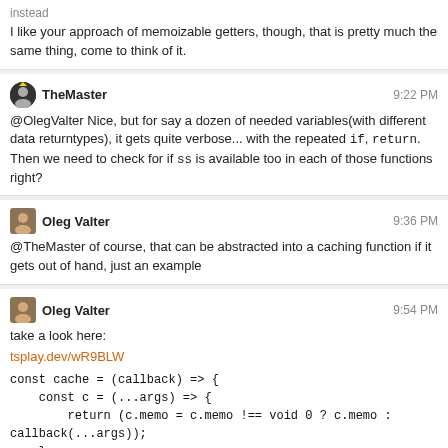instead
I like your approach of memoizable getters, though, that is pretty much the same thing, come to think of it.
TheMaster 9:22 PM
@OlegValter Nice, but for say a dozen of needed variables(with different data returntypes), it gets quite verbose... with the repeated if, return. Then we need to check for if ss is available too in each of those functions right?
Oleg Valter 9:36 PM
@TheMaster of course, that can be abstracted into a caching function if it gets out of hand, just an example
Oleg Valter 9:54 PM
take a look here:
tsplay.dev/wR9BLW
const cache = (callback) => {
    const c = (...args) => {
        return (c.memo = c.memo !== void 0 ? c.memo :
callback(...args));
    }
    return c;
}
pure JS version
reusable, clean, no mutations
← prev day  next day →  last day »
join this room